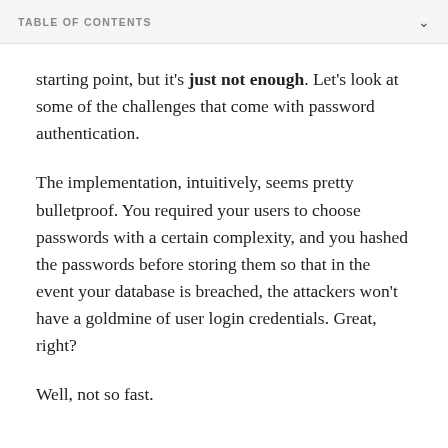TABLE OF CONTENTS
starting point, but it's just not enough. Let's look at some of the challenges that come with password authentication.
The implementation, intuitively, seems pretty bulletproof. You required your users to choose passwords with a certain complexity, and you hashed the passwords before storing them so that in the event your database is breached, the attackers won't have a goldmine of user login credentials. Great, right?
Well, not so fast.